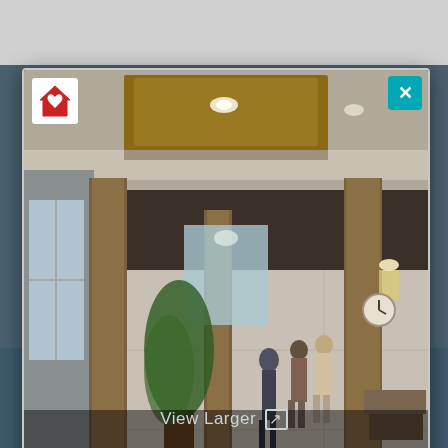[Figure (screenshot): A popup/modal advertisement showing an interior lobby rendering of The Evergreens senior living community. The lobby has wood-paneled ceilings, columns, recessed lighting, large windows, plants, and people walking. Overlaid bold white text reads 'Renovations Underway: See What's Coming to The Evergreens!' with a pink/red rounded button 'Take the Virtual Tour'. A teal close button (X) is in the top right, a house/heart logo in the top left. Below the modal a 'View Larger' link with external link icon appears on a dark teal background.]
View Larger ↗